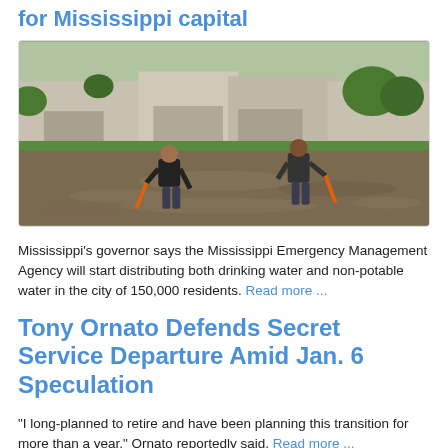for Mississippi capital
[Figure (photo): Two people wading through floodwater in a residential neighborhood, both holding orange ropes or poles, water up to their waists, green lawn and houses visible in background]
Mississippi's governor says the Mississippi Emergency Management Agency will start distributing both drinking water and non-potable water in the city of 150,000 residents. Read more ...
Tony Ornato Defends Secret Service Departure Amid Jan. 6 Speculation
"I long-planned to retire and have been planning this transition for more than a year," Ornato reportedly said. Read more ...